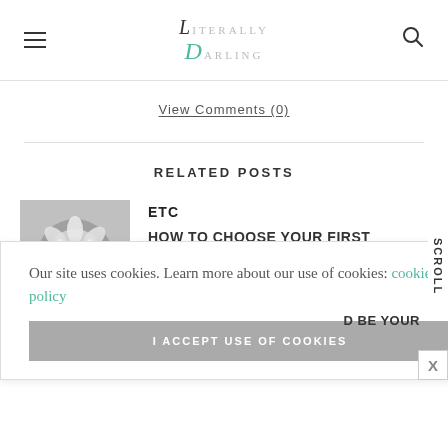Literally Darling
View Comments (0)
RELATED POSTS
[Figure (photo): Close-up of a sparkling diamond/crystal brooch with floral pattern]
ETC
HOW TO CHOOSE YOUR FIRST DIAMOND
Our site uses cookies. Learn more about our use of cookies: cookie policy
I ACCEPT USE OF COOKIES
SCROLL
D BE YOUR
X